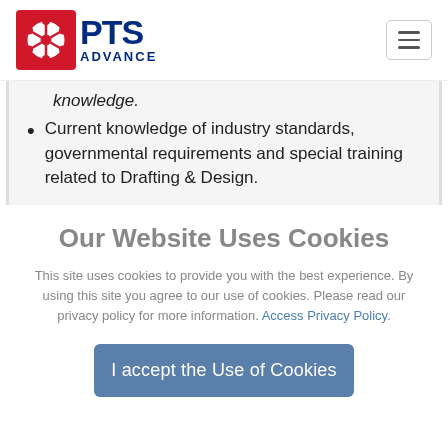[Figure (logo): PTS Advance logo with red square icon and dark blue text]
knowledge.
Current knowledge of industry standards, governmental requirements and special training related to Drafting & Design.
Our Website Uses Cookies
This site uses cookies to provide you with the best experience. By using this site you agree to our use of cookies. Please read our privacy policy for more information. Access Privacy Policy.